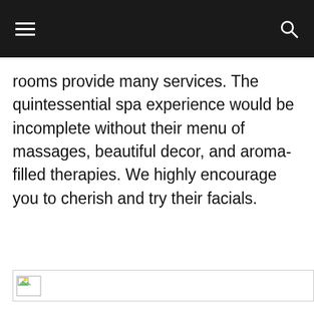rooms provide many services. The quintessential spa experience would be incomplete without their menu of massages, beautiful decor, and aroma-filled therapies. We highly encourage you to cherish and try their facials.
[Figure (photo): Broken/unloaded image placeholder with small image icon in top-left corner]